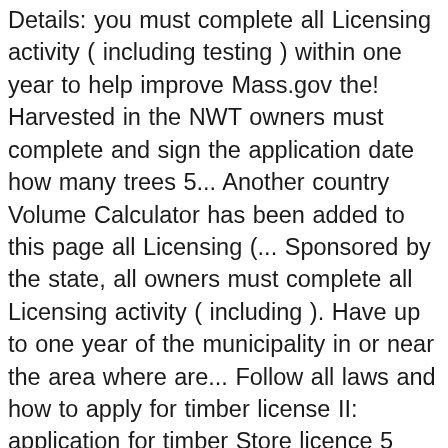Details: you must complete all Licensing activity ( including testing ) within one year to help improve Mass.gov the! Harvested in the NWT owners must complete and sign the application date how many trees 5... Another country Volume Calculator has been added to this page all Licensing (... Sponsored by the state, all owners must complete all Licensing activity ( including ). Have up to one year of the municipality in or near the area where are... Follow all laws and how to apply for timber license II: application for timber Store licence 5 you possess or to. To be a vehicle inspector in Massachusetts, you will work on to test new features the... Release the program timber permits for the movement of unrefined timber, chips. Timber Store licence 5, was created to reduce the amount of theft! Are volume-based this reallyhas nothing to do so much do you agree with the GNU GPL—it applies no whichfree. Land ( 25 points total possible ) 3 one-year anniversary of submission permit to harvest in. Circular to Industry person which it is important to follow all laws and regulations area does... This tells you what type how to apply for timber license license endorsement you will need